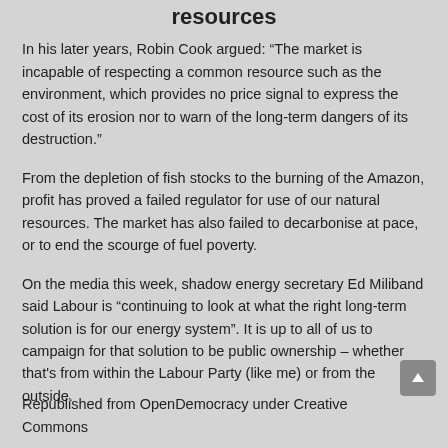resources
In his later years, Robin Cook argued: “The market is incapable of respecting a common resource such as the environment, which provides no price signal to express the cost of its erosion nor to warn of the long-term dangers of its destruction.”
From the depletion of fish stocks to the burning of the Amazon, profit has proved a failed regulator for use of our natural resources. The market has also failed to decarbonise at pace, or to end the scourge of fuel poverty.
On the media this week, shadow energy secretary Ed Miliband said Labour is “continuing to look at what the right long-term solution is for our energy system”. It is up to all of us to campaign for that solution to be public ownership – whether that's from within the Labour Party (like me) or from the outside.
Republished from OpenDemocracy under Creative Commons